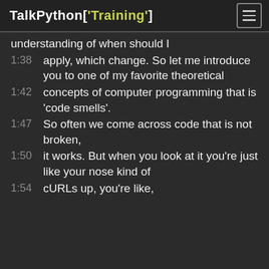TalkPython['Training']
understanding of when should I
1:38    apply, which change. So let me introduce you to one of my favorite theoretical
1:42    concepts of computer programming that is 'code smells'.
1:47    So often we come across code that is not broken,
1:50    it works. But when you look at it you're just like your nose kind of
1:54    cURLs up, you're like,